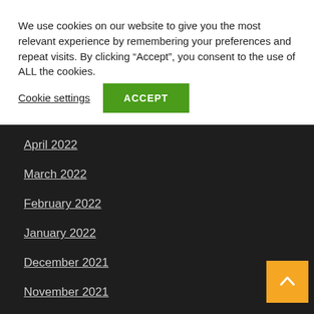We use cookies on our website to give you the most relevant experience by remembering your preferences and repeat visits. By clicking “Accept”, you consent to the use of ALL the cookies.
Cookie settings
ACCEPT
April 2022
March 2022
February 2022
January 2022
December 2021
November 2021
October 2021
September 2021